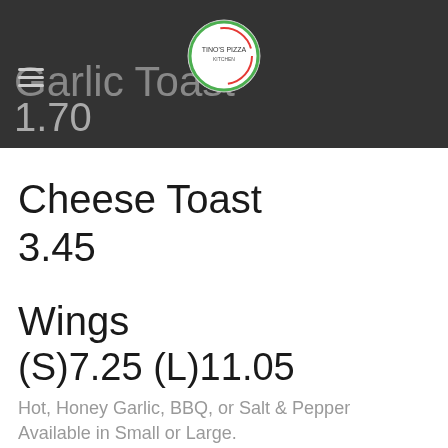Garlic Toast 1.70
[Figure (logo): Round pizza restaurant logo with arrow icon]
Cheese Toast
3.45
Wings
(S)7.25 (L)11.05
Hot, Honey Garlic, BBQ, or Salt & Pepper Available in Small or Large.
Ribs